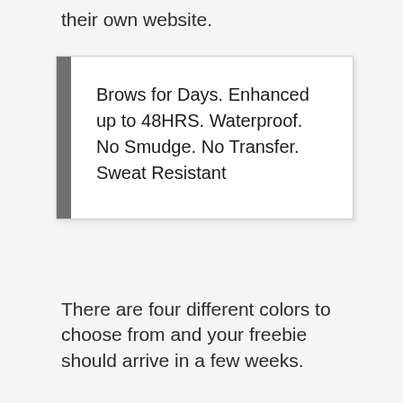their own website.
Brows for Days. Enhanced up to 48HRS. Waterproof. No Smudge. No Transfer. Sweat Resistant
There are four different colors to choose from and your freebie should arrive in a few weeks.
Read more
[Figure (infographic): Social sharing buttons: Facebook (blue), Twitter (light blue), Reddit (orange), Email (dark gray), WhatsApp (green), and a comment button (dark gray) on the right.]